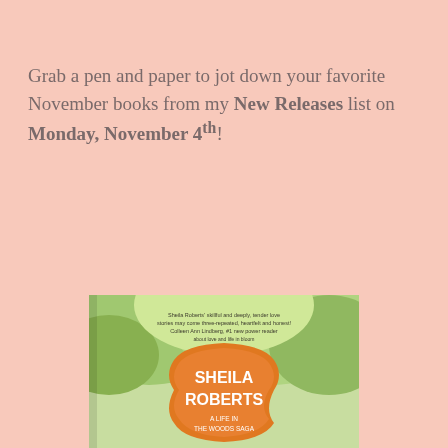Grab a pen and paper to jot down your favorite November books from my New Releases list on Monday, November 4th!
[Figure (illustration): Book cover of 'What She Wants' by Sheila Roberts, showing a bouquet of colorful flowers on a white bench with a green outdoor background. The author name 'SHEILA ROBERTS' appears in white text on an orange decorative badge in the center of the cover.]